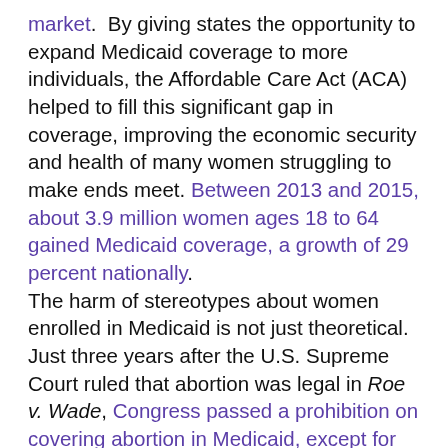market. By giving states the opportunity to expand Medicaid coverage to more individuals, the Affordable Care Act (ACA) helped to fill this significant gap in coverage, improving the economic security and health of many women struggling to make ends meet. Between 2013 and 2015, about 3.9 million women ages 18 to 64 gained Medicaid coverage, a growth of 29 percent nationally. The harm of stereotypes about women enrolled in Medicaid is not just theoretical. Just three years after the U.S. Supreme Court ruled that abortion was legal in Roe v. Wade, Congress passed a prohibition on covering abortion in Medicaid, except for very limited circumstances. The prohibition – known as the Hyde Amendment – became effective in 1977 and has been continuously renewed by Congress as part of